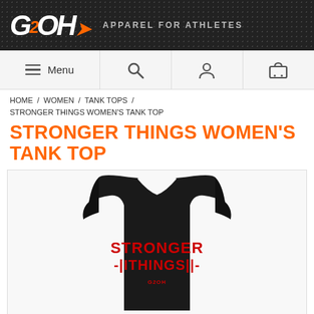[Figure (logo): G2OH Apparel For Athletes logo on dark textured background]
Menu | Search | Account | Cart
HOME / WOMEN / TANK TOPS / STRONGER THINGS WOMEN'S TANK TOP
STRONGER THINGS WOMEN'S TANK TOP
[Figure (photo): Black women's racerback tank top with STRONGER THINGS text in red on front, with barbell graphic elements and G2OH logo]